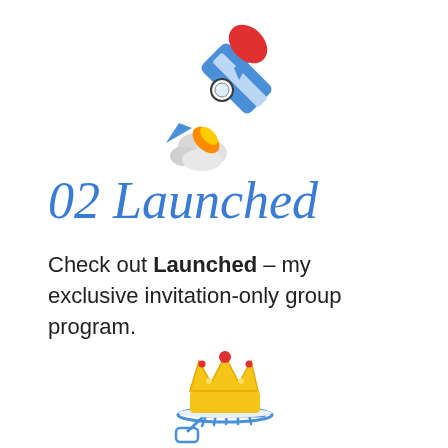[Figure (illustration): Rocket emoji illustration — a rocket with red nose cone, blue body, white fins, and orange/yellow flame with white smoke cloud, flying upward to the right]
02 Launched
Check out Launched – my exclusive invitation-only group program.
[Figure (illustration): Crown emoji (gold/yellow crown with red gem) resting on a blue serving tray held by a hand — icon combination illustration]